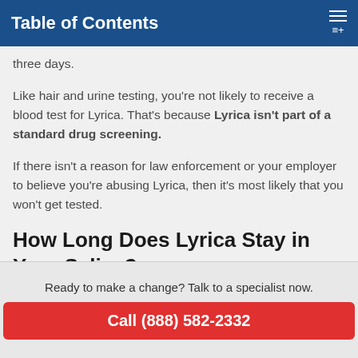Table of Contents
three days.
Like hair and urine testing, you're not likely to receive a blood test for Lyrica. That's because Lyrica isn't part of a standard drug screening.
If there isn't a reason for law enforcement or your employer to believe you're abusing Lyrica, then it's most likely that you won't get tested.
How Long Does Lyrica Stay in Your Saliva?
Ready to make a change? Talk to a specialist now.
Call (888) 582-2332